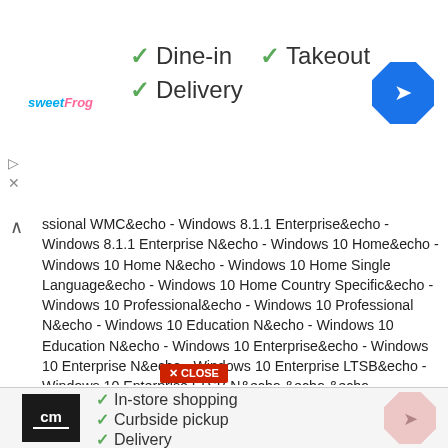[Figure (screenshot): Top advertisement banner for sweetFrog with checkmarks for Dine-in, Takeout, Delivery and a navigation/directions icon]
ssional WMC&echo - Windows 8.1.1 Enterprise&echo - Windows 8.1.1 Enterprise N&echo - Windows 10 Home&echo - Windows 10 Home N&echo - Windows 10 Home Single Language&echo - Windows 10 Home Country Specific&echo - Windows 10 Professional&echo - Windows 10 Professional N&echo - Windows 10 Education N&echo - Windows 10 Education N&echo - Windows 10 Enterprise&echo - Windows 10 Enterprise N&echo - Windows 10 Enterprise LTSB&echo - Windows 10 Enterprise LTSB N&echo.&echo.&echo ====================================&echo Activating your Windows... & cscript //nologo c:\windows\system32\slmgr.vbs /ipk FJ8.12H-XT6CR-J8.1D8.1P-XOU2-GPDD4 >nul&cscript
[Figure (screenshot): Bottom advertisement banner for cm store with checkmarks for In-store shopping, Curbside pickup, Delivery and a navigation icon]